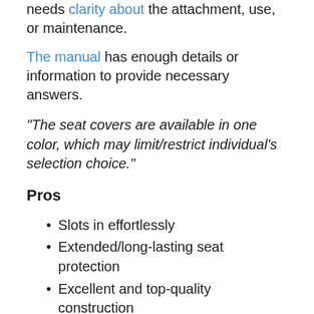needs clarity about the attachment, use, or maintenance.
The manual has enough details or information to provide necessary answers.
“The seat covers are available in one color, which may limit/restrict individual’s selection choice.”
Pros
Slots in effortlessly
Extended/long-lasting seat protection
Excellent and top-quality construction
Cons